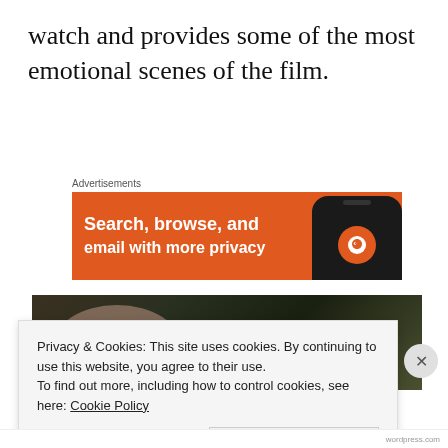watch and provides some of the most emotional scenes of the film.
Advertisements
[Figure (screenshot): Orange advertisement banner showing 'Search, browse, and email with more privacy' text with a smartphone showing a DuckDuckGo icon on the right side.]
[Figure (photo): Photo of two people (an older man on the left and a younger woman on the right) seated, appearing to be in conversation in a room with bookshelves.]
Privacy & Cookies: This site uses cookies. By continuing to use this website, you agree to their use.
To find out more, including how to control cookies, see here: Cookie Policy
Close and accept